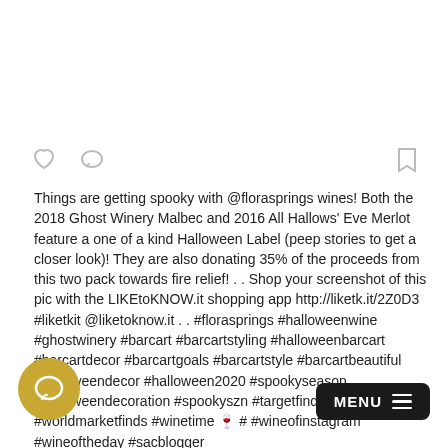[Figure (screenshot): White image area at the top of an Instagram-style post]
Things are getting spooky with @florasprings wines! Both the 2018 Ghost Winery Malbec and 2016 All Hallows' Eve Merlot feature a one of a kind Halloween Label (peep stories to get a closer look)! They are also donating 35% of the proceeds from this two pack towards fire relief! . . Shop your screenshot of this pic with the LIKEtoKNOW.it shopping app http://liketk.it/2Z0D3 #liketkit @liketoknow.it . . #florasprings #halloweenwine #ghostwinery #barcart #barcartstyling #halloweenbarcart #barcartdecor #barcartgoals #barcartstyle #barcartbeautiful #halloweendecor #halloween2020 #spookyseason #halloweendecoration #spookyszn #targetfinds #amazonfinds #worldmarketfinds #winetime 🍷 # #wineofinstagram #wineoftheday #sacblogger